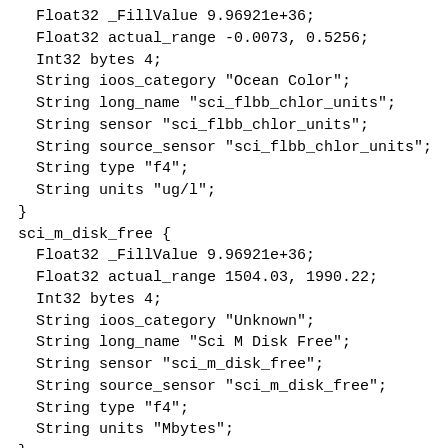Float32 _FillValue 9.96921e+36;
    Float32 actual_range -0.0073, 0.5256;
    Int32 bytes 4;
    String ioos_category "Ocean Color";
    String long_name "sci_flbb_chlor_units";
    String sensor "sci_flbb_chlor_units";
    String source_sensor "sci_flbb_chlor_units";
    String type "f4";
    String units "ug/l";
  }
  sci_m_disk_free {
    Float32 _FillValue 9.96921e+36;
    Float32 actual_range 1504.03, 1990.22;
    Int32 bytes 4;
    String ioos_category "Unknown";
    String long_name "Sci M Disk Free";
    String sensor "sci_m_disk_free";
    String source_sensor "sci_m_disk_free";
    String type "f4";
    String units "Mbytes";
  }
  sci_m_present_time {
    Float64 actual_range 1.61144814171619e+9, 1.615766
    String axis "T";
    Int32 bytes 8;
    String calendar "gregorian";